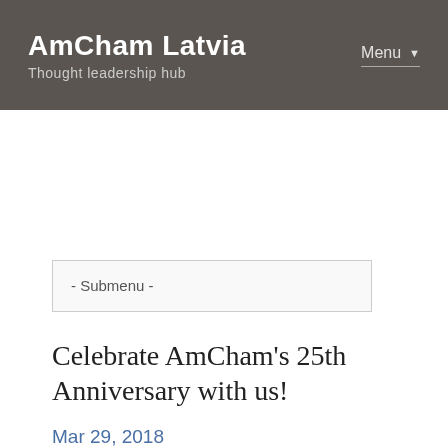AmCham Latvia
Thought leadership hub
Menu
- Submenu -
Celebrate AmCham's 25th Anniversary with us!
Mar 29, 2018
We are excited to invite you to join us for our